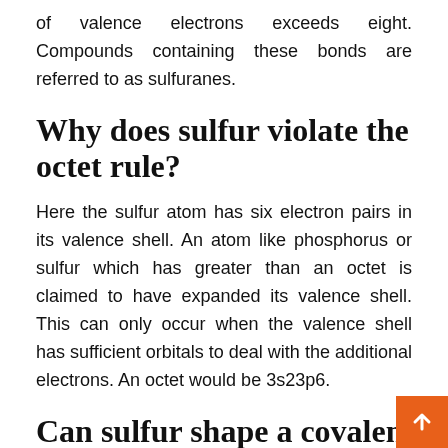of valence electrons exceeds eight. Compounds containing these bonds are referred to as sulfuranes.
Why does sulfur violate the octet rule?
Here the sulfur atom has six electron pairs in its valence shell. An atom like phosphorus or sulfur which has greater than an octet is claimed to have expanded its valence shell. This can only occur when the valence shell has sufficient orbitals to deal with the additional electrons. An octet would be 3s23p6.
Can sulfur shape a covalent